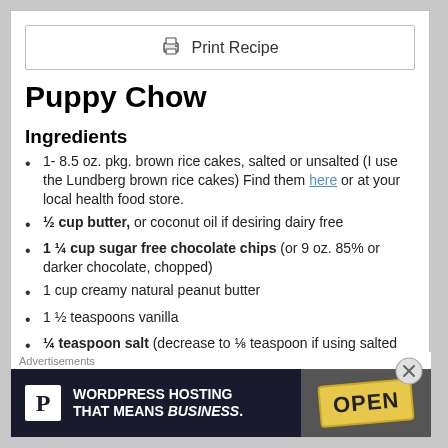Print Recipe
Puppy Chow
Ingredients
1- 8.5 oz. pkg. brown rice cakes, salted or unsalted (I use the Lundberg brown rice cakes) Find them here or at your local health food store.
½ cup butter, or coconut oil if desiring dairy free
1 ¼ cup sugar free chocolate chips (or 9 oz. 85% or darker chocolate, chopped)
1 cup creamy natural peanut butter
1 ½ teaspoons vanilla
¼ teaspoon salt (decrease to ⅛ teaspoon if using salted rice cakes)
[Figure (infographic): WordPress Hosting advertisement banner with 'P' logo icon, text 'WORDPRESS HOSTING THAT MEANS BUSINESS.' and an OPEN sign photo on the right.]